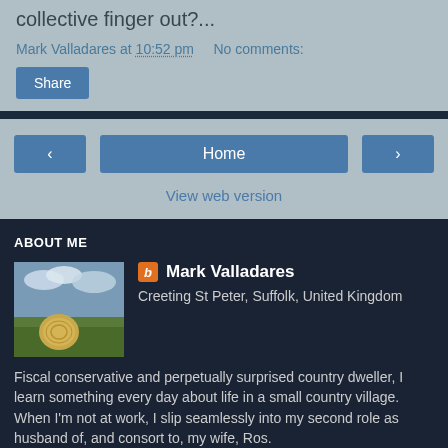collective finger out?...
Mark Valladares at 10:52 pm   No comments:
Share
Home
View web version
ABOUT ME
[Figure (photo): Blogger profile photo - landscape/countryside scene with round hay bale]
Mark Valladares
Creeting St Peter, Suffolk, United Kingdom
Fiscal conservative and perpetually surprised country dweller, I learn something every day about life in a small country village. When I'm not at work, I slip seamlessly into my second role as husband of, and consort to, my wife, Ros.
View my complete profile
Powered by Blogger.